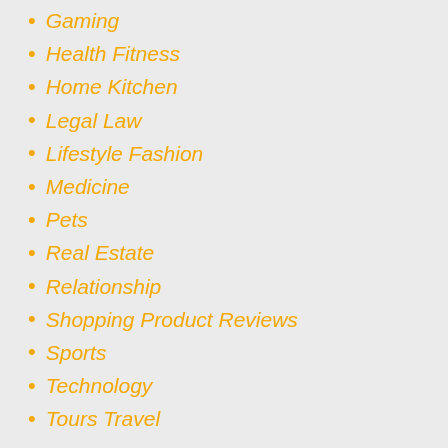Gaming
Health Fitness
Home Kitchen
Legal Law
Lifestyle Fashion
Medicine
Pets
Real Estate
Relationship
Shopping Product Reviews
Sports
Technology
Tours Travel
Meta
Log in